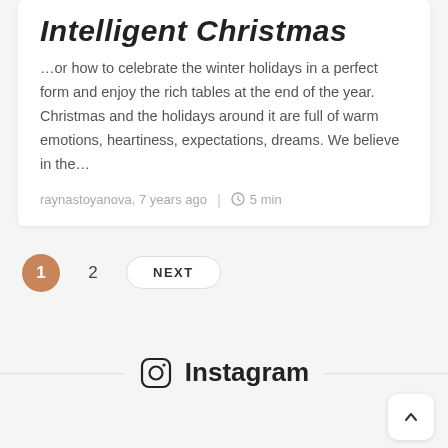Intelligent Christmas
…or how to celebrate the winter holidays in a perfect form and enjoy the rich tables at the end of the year. Christmas and the holidays around it are full of warm emotions, heartiness, expectations, dreams. We believe in the…
raynastoyanova, 7 years ago | 5 min
1  2  NEXT
Instagram